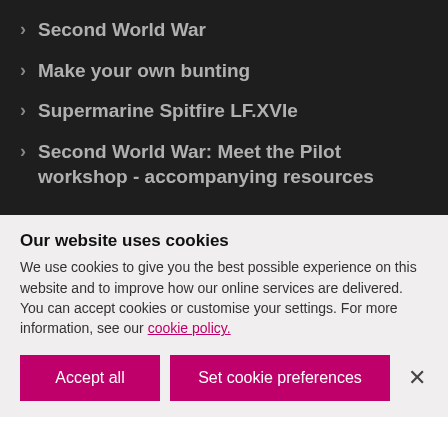Second World War
Make your own bunting
Supermarine Spitfire LF.XVIe
Second World War: Meet the Pilot workshop - accompanying resources
Our website uses cookies
We use cookies to give you the best possible experience on this website and to improve how our online services are delivered. You can accept cookies or customise your settings. For more information, see our cookie policy.
Accept all
Set cookie preferences